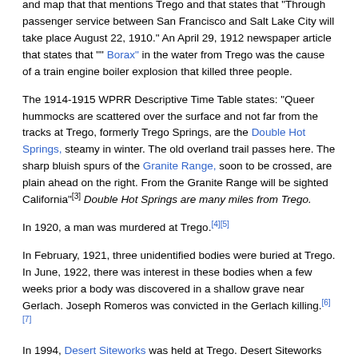and map that that mentions Trego and that states that "Through passenger service between San Francisco and Salt Lake City will take place August 22, 1910." An April 29, 1912 newspaper article that states that "" Borax" in the water from Trego was the cause of a train engine boiler explosion that killed three people.
The 1914-1915 WPRR Descriptive Time Table states: "Queer hummocks are scattered over the surface and not far from the tracks at Trego, formerly Trego Springs, are the Double Hot Springs, steamy in winter. The old overland trail passes here. The sharp bluish spurs of the Granite Range, soon to be crossed, are plain ahead on the right. From the Granite Range will be sighted California"[3] Double Hot Springs are many miles from Trego.
In 1920, a man was murdered at Trego.[4][5]
In February, 1921, three unidentified bodies were buried at Trego. In June, 1922, there was interest in these bodies when a few weeks prior a body was discovered in a shallow grave near Gerlach. Joseph Romeros was convicted in the Gerlach killing.[6][7]
In 1994, Desert Siteworks was held at Trego. Desert Siteworks was a series of art events led by William Binzen, assisted by Judy West and John Law from 1993 to 1996. Desert Siteworks sometimes coincided with Burning Man, and many of the principles developed at Desert Siteworks (such as Leave-No-Trace) were adopted by Burning Man.